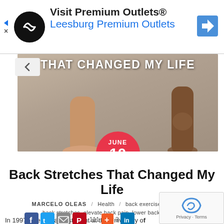[Figure (screenshot): Advertisement banner for Visit Premium Outlets® / Leesburg Premium Outlets with logo and navigation icon]
[Figure (photo): Hero image showing legs/feet on floor with white text overlay reading THAT CHANGED MY LIFE, and a red circular date badge reading JUNE 10 2019]
Back Stretches That Changed My Life
MARCELO OLEAS / Health / back exercises back pain back stretches elevate back pain lower back pain
111  3
In 1997 when I was a student at the University of NOW